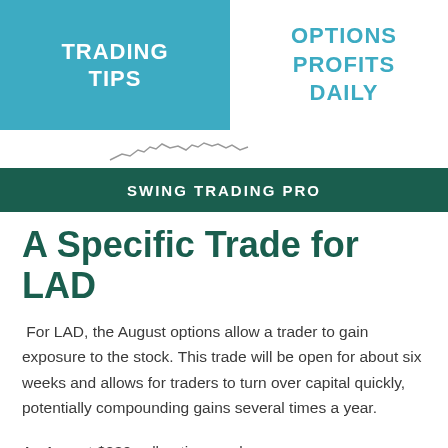TRADING TIPS
OPTIONS PROFITS DAILY
[Figure (other): Small stock chart line illustration in header area]
SWING TRADING PRO
A Specific Trade for LAD
For LAD, the August options allow a trader to gain exposure to the stock. This trade will be open for about six weeks and allows for traders to turn over capital quickly, potentially compounding gains several times a year.
An August $230 call option can be